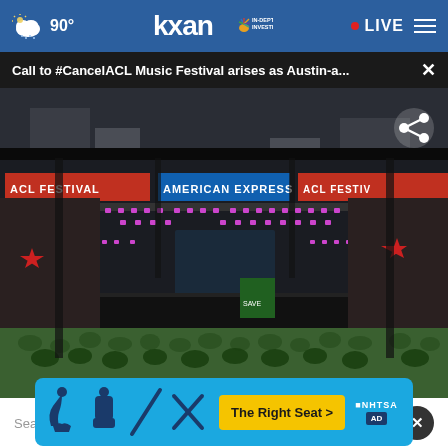90° kxan IN-DEPTH INVESTIGATIVE LIVE
Call to #CancelACL Music Festival arises as Austin-a...
[Figure (photo): ACL Music Festival stage with American Express branding, large outdoor concert venue with crowd gathered in front, purple stage lights visible]
Search Plaque Psoriasis
[Figure (infographic): NHTSA The Right Seat advertisement banner with child safety seat icons on blue background]